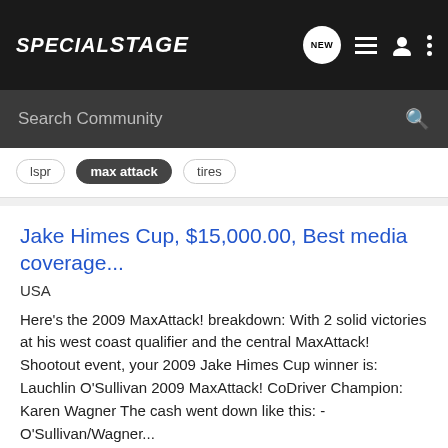SPECIAL STAGE
Search Community
lspr
max attack
tires
Jake Himes Cup, $15,000.00, Best media coverage...
USA
Here's the 2009 MaxAttack! breakdown: With 2 solid victories at his west coast qualifier and the central MaxAttack! Shootout event, your 2009 Jake Himes Cup winner is: Lauchlin O'Sullivan 2009 MaxAttack! CoDriver Champion: Karen Wagner The cash went down like this: - O'Sullivan/Wagner...
24   8K
Eric Burmeister · Sep 14, 2009